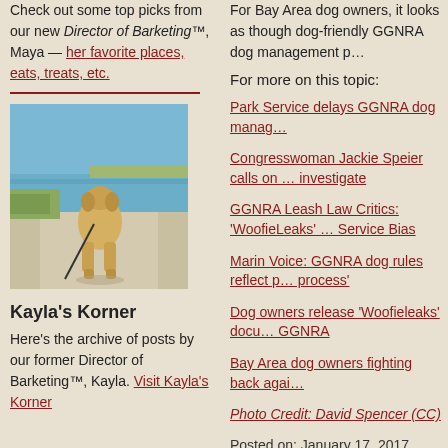Check out some top picks from our new Director of Barketing™, Maya — her favorite places, eats, treats, etc.
[Figure (photo): A golden/yellow dog walking on a paved path near water, viewed from behind, on a leash.]
Kayla's Korner
Here's the archive of posts by our former Director of Barketing™, Kayla. Visit Kayla's Korner
For Bay Area dog owners, it looks as though dog-friendly GGNRA dog management p…
For more on this topic:
Park Service delays GGNRA dog manag…
Congresswoman Jackie Speier calls on … investigate
GGNRA Leash Law Critics: 'WoofieLeaks' … Service Bias
Marin Voice: GGNRA dog rules reflect p… process'
Dog owners release 'Woofieleaks' docu… GGNRA
Bay Area dog owners fighting back agai…
Photo Credit: David Spencer (CC)
Posted on: January 17, 2017